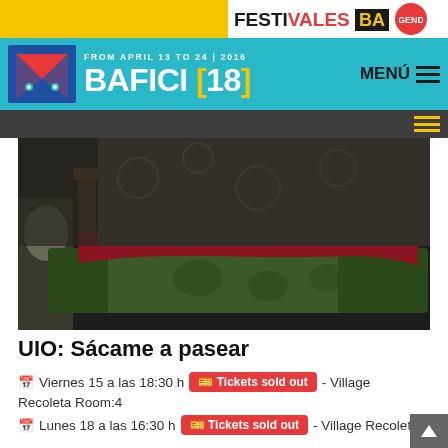FESTIVALES BA — BAFICI [18] FROM APRIL 13 TO 24 | 2016
[Figure (photo): Woman lying on a patterned green sofa/couch in a dimly lit room, wearing a grey top and dark red pants, with a wooden chair visible in the background.]
UIO: Sácame a pasear
Viernes 15 a las 18:30 h  Tickets sold out  - Village Recoleta Room:4
Lunes 18 a las 16:30 h  Tickets sold out  - Village Recoleta